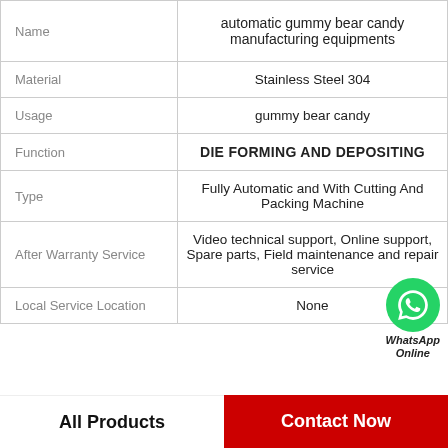|  |  |
| --- | --- |
| Name | automatic gummy bear candy manufacturing equipments |
| Material | Stainless Steel 304 |
| Usage | gummy bear candy |
| Function | DIE FORMING AND DEPOSITING |
| Type | Fully Automatic and With Cutting And Packing Machine |
| After Warranty Service | Video technical support, Online support, Spare parts, Field maintenance and repair service |
| Local Service Location | None |
All Products
Contact Now